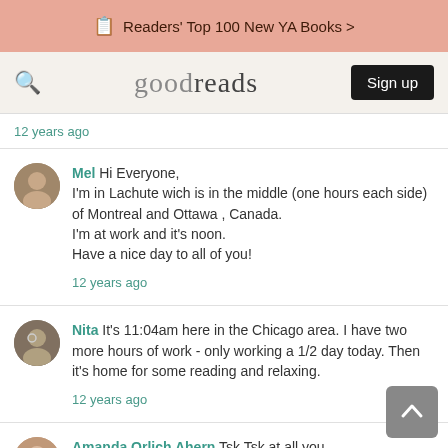Readers' Top 100 New YA Books >
goodreads  Sign up
12 years ago
Mel Hi Everyone, I'm in Lachute wich is in the middle (one hours each side) of Montreal and Ottawa , Canada. I'm at work and it's noon. Have a nice day to all of you! 12 years ago
Nita It's 11:04am here in the Chicago area. I have two more hours of work - only working a 1/2 day today. Then it's home for some reading and relaxing. 12 years ago
Amanda Orlich Ahern Tsk Tsk at all you people reading/playing on Goodreads at work.